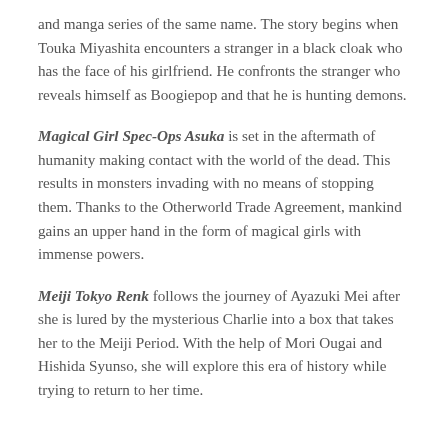and manga series of the same name. The story begins when Touka Miyashita encounters a stranger in a black cloak who has the face of his girlfriend. He confronts the stranger who reveals himself as Boogiepop and that he is hunting demons.
Magical Girl Spec-Ops Asuka is set in the aftermath of humanity making contact with the world of the dead. This results in monsters invading with no means of stopping them. Thanks to the Otherworld Trade Agreement, mankind gains an upper hand in the form of magical girls with immense powers.
Meiji Tokyo Renk follows the journey of Ayazuki Mei after she is lured by the mysterious Charlie into a box that takes her to the Meiji Period. With the help of Mori Ougai and Hishida Syunso, she will explore this era of history while trying to return to her time.